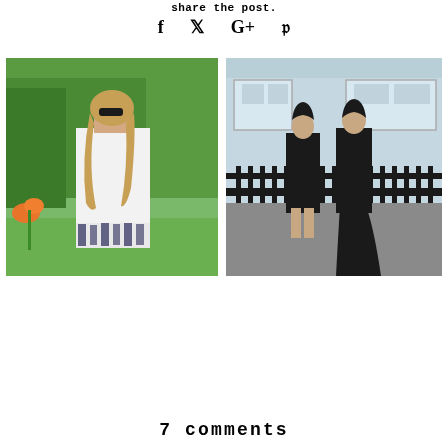share the post.
f   𝕏   G+   𝒫
[Figure (photo): A woman with long blonde hair wearing sunglasses and a white sleeveless dress with dark floral/palm print hem, standing outdoors in a garden with green trees and orange flowers in the background.]
[Figure (photo): Two women in black dresses standing in front of a light blue building with iron railings. One wears a short black dress, the other a long black gown.]
7 comments